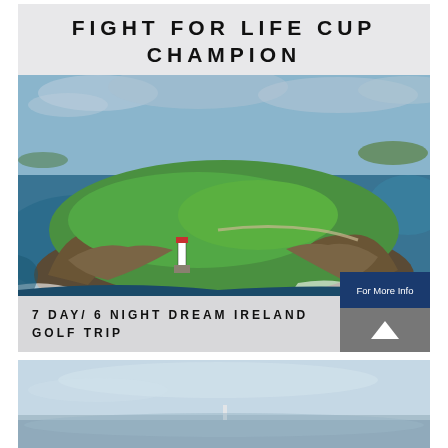[Figure (photo): Promotional card for 'Fight for Life Cup Champion' featuring an aerial photograph of a green island headland with a lighthouse surrounded by ocean waves. Bottom text reads '7 DAY / 6 NIGHT DREAM IRELAND GOLF TRIP' with a navy 'For More Info' button and a grey arrow-up button overlay.]
[Figure (photo): Partial aerial photograph showing a lighter coastal/sky scene, partially cropped at bottom of page.]